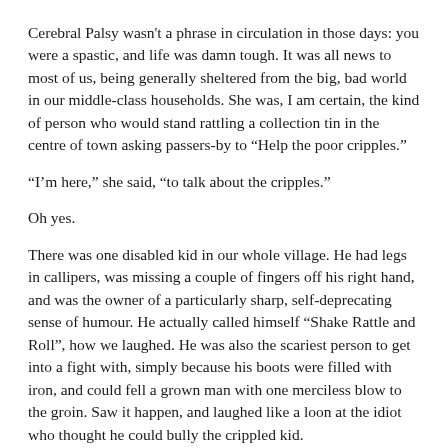Cerebral Palsy wasn't a phrase in circulation in those days: you were a spastic, and life was damn tough. It was all news to most of us, being generally sheltered from the big, bad world in our middle-class households. She was, I am certain, the kind of person who would stand rattling a collection tin in the centre of town asking passers-by to “Help the poor cripples.”
“I’m here,” she said, “to talk about the cripples.”
Oh yes.
There was one disabled kid in our whole village. He had legs in callipers, was missing a couple of fingers off his right hand, and was the owner of a particularly sharp, self-deprecating sense of humour. He actually called himself “Shake Rattle and Roll”, how we laughed. He was also the scariest person to get into a fight with, simply because his boots were filled with iron, and could fell a grown man with one merciless blow to the groin. Saw it happen, and laughed like a loon at the idiot who thought he could bully the crippled kid.